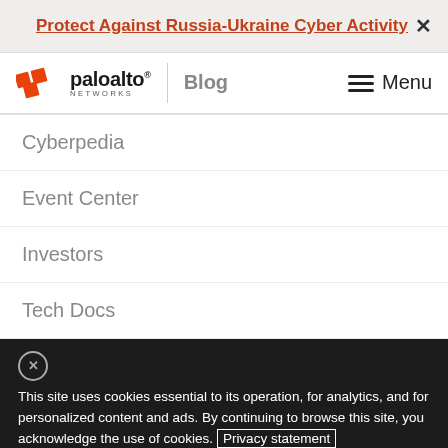Protect Against Russia-Ukraine Cyber Activity
[Figure (logo): Palo Alto Networks logo with Blog text and Menu button]
Cyberpedia
Event Center
Investors
Tech Docs
This site uses cookies essential to its operation, for analytics, and for personalized content and ads. By continuing to browse this site, you acknowledge the use of cookies. Privacy statement
Cookie Settings